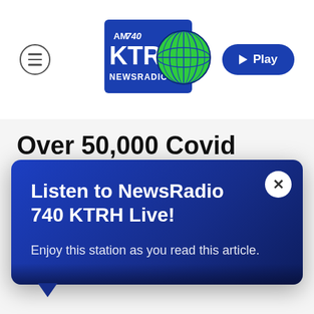[Figure (logo): AM 740 KTRH Newsradio logo with blue rectangle and green globe]
Over 50,000 Covid Vaccines
Listen to NewsRadio 740 KTRH Live!
Enjoy this station as you read this article.